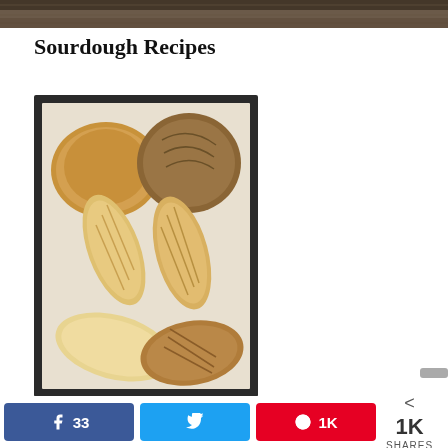[Figure (photo): Top strip of a photo showing blurred background, dark tones]
Sourdough Recipes
[Figure (photo): Six sourdough bread rolls and loaves arranged on parchment paper on a dark baking tray — two round boules on top, two baguette-style rolls in the middle, and two oval loaves on the bottom]
33
1K
1K SHARES